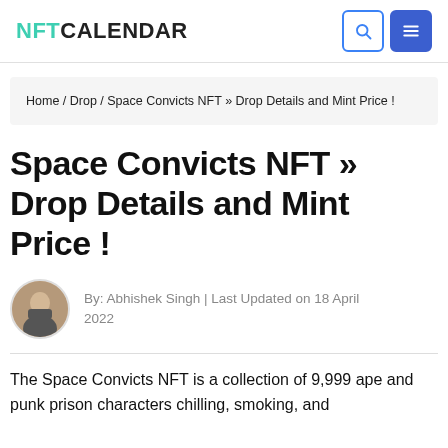NFT CALENDAR
Home / Drop / Space Convicts NFT » Drop Details and Mint Price !
Space Convicts NFT » Drop Details and Mint Price !
By: Abhishek Singh | Last Updated on 18 April 2022
The Space Convicts NFT is a collection of 9,999 ape and punk prison characters chilling, smoking, and